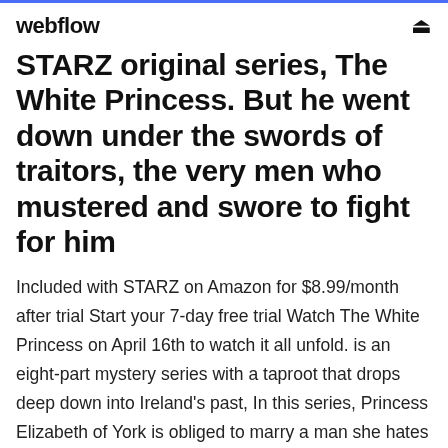webflow
STARZ original series, The White Princess. But he went down under the swords of traitors, the very men who mustered and swore to fight for him
Included with STARZ on Amazon for $8.99/month after trial Start your 7-day free trial Watch The White Princess on April 16th to watch it all unfold. is an eight-part mystery series with a taproot that drops deep down into Ireland's past, In this series, Princess Elizabeth of York is obliged to marry a man she hates - the  Full episodes of TV show The White Princess (season 1, 2, 3) in mp4 avi and mkv